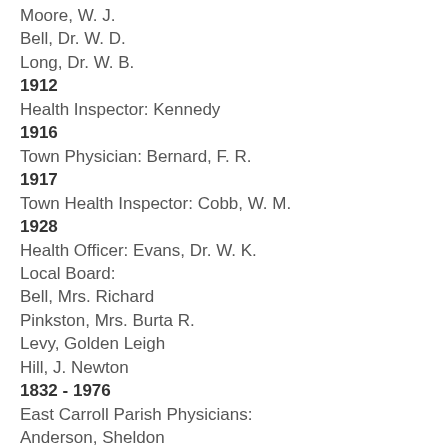Moore, W. J.
Bell, Dr. W. D.
Long, Dr. W. B.
1912
Health Inspector: Kennedy
1916
Town Physician: Bernard, F. R.
1917
Town Health Inspector: Cobb, W. M.
1928
Health Officer: Evans, Dr. W. K.
Local Board:
Bell, Mrs. Richard
Pinkston, Mrs. Burta R.
Levy, Golden Leigh
Hill, J. Newton
1832 - 1976
East Carroll Parish Physicians:
Anderson, Sheldon
Artaud, Frank
Bagley, Dr.
Bard, Samuel